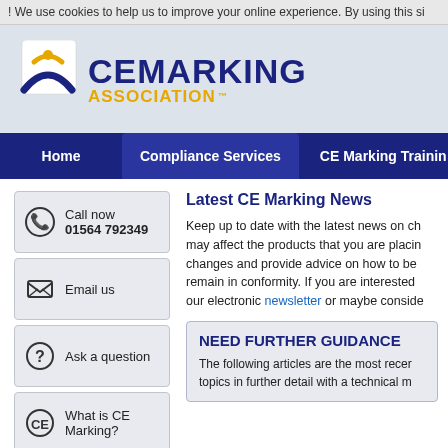! We use cookies to help us to improve your online experience. By using this si
[Figure (logo): CE Marking Association logo with stylized CE icon in dark blue and gold, text 'CE MARKING ASSOCIATION' in dark blue and gold]
Home | Compliance Services | CE Marking Training
Call now 01564 792349
Email us
Ask a question
What is CE Marking?
Funding for
Latest CE Marking News
Keep up to date with the latest news on ch may affect the products that you are placin changes and provide advice on how to be remain in conformity. If you are interested our electronic newsletter or maybe conside
NEED FURTHER GUIDANCE
The following articles are the most recer topics in further detail with a technical m